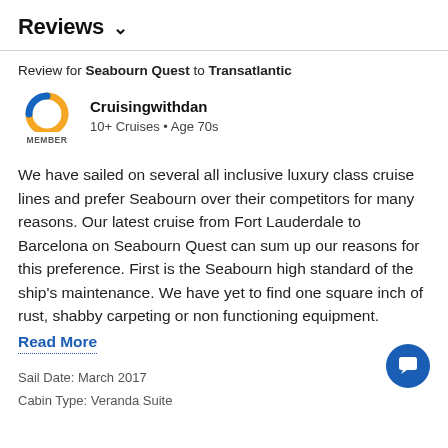Reviews
Review for Seabourn Quest to Transatlantic
Cruisingwithdan
10+ Cruises • Age 70s
We have sailed on several all inclusive luxury class cruise lines and prefer Seabourn over their competitors for many reasons. Our latest cruise from Fort Lauderdale to Barcelona on Seabourn Quest can sum up our reasons for this preference. First is the Seabourn high standard of the ship's maintenance. We have yet to find one square inch of rust, shabby carpeting or non functioning equipment.
Read More
Sail Date: March 2017
Cabin Type: Veranda Suite